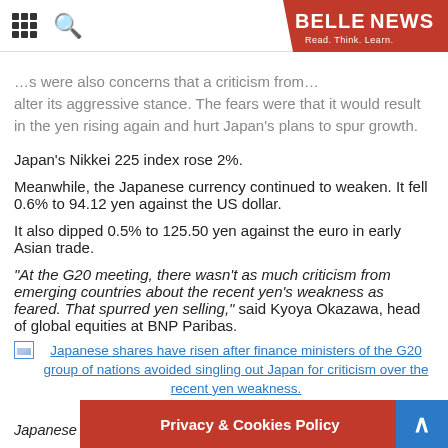BELLENEWS — Read. Think. Learn.
…s were also concerns that a criticism from … alter its aggressive stance. The fears were that it would result in the yen rising again and hurt Japan's plans to spur growth.
Japan's Nikkei 225 index rose 2%.
Meanwhile, the Japanese currency continued to weaken. It fell 0.6% to 94.12 yen against the US dollar.
It also dipped 0.5% to 125.50 yen against the euro in early Asian trade.
"At the G20 meeting, there wasn't as much criticism from emerging countries about the recent yen's weakness as feared. That spurred yen selling," said Kyoya Okazawa, head of global equities at BNP Paribas.
[Figure (photo): Broken/loading image placeholder for a photo of Japanese shares rising]
Japanese shares have risen after finance ministers of the G20 group of nations avoided singling out Japan for criticism over the recent yen weakness.
Japanese shares have risen after